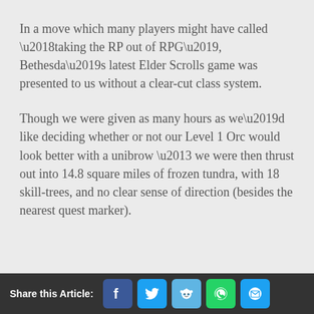In a move which many players might have called ‘taking the RP out of RPG’, Bethesda’s latest Elder Scrolls game was presented to us without a clear-cut class system.
Though we were given as many hours as we’d like deciding whether or not our Level 1 Orc would look better with a unibrow – we were then thrust out into 14.8 square miles of frozen tundra, with 18 skill-trees, and no clear sense of direction (besides the nearest quest marker).
Share this Article: